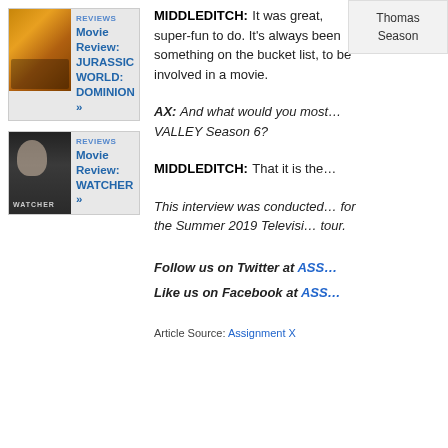[Figure (other): Movie review card for Jurassic World: Dominion with thumbnail image]
REVIEWS
Movie Review: JURASSIC WORLD: DOMINION »
[Figure (other): Movie review card for Watcher with thumbnail image]
REVIEWS
Movie Review: WATCHER »
MIDDLEDITCH: It was great, super-fun to do. It's always been something on the bucket list, to be involved in a movie.
Thomas
Season
AX: And what would you most … VALLEY Season 6?
MIDDLEDITCH: That it is the…
This interview was conducted … for the Summer 2019 Televisi… tour.
Follow us on Twitter at ASS…
Like us on Facebook at ASS…
Article Source: Assignment X